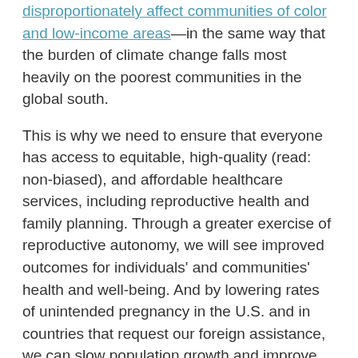disproportionately affect communities of color and low-income areas—in the same way that the burden of climate change falls most heavily on the poorest communities in the global south.
This is why we need to ensure that everyone has access to equitable, high-quality (read: non-biased), and affordable healthcare services, including reproductive health and family planning. Through a greater exercise of reproductive autonomy, we will see improved outcomes for individuals' and communities' health and well-being. And by lowering rates of unintended pregnancy in the U.S. and in countries that request our foreign assistance, we can slow population growth and improve environmental sustainability for generations to come.
Our country is losing Black men, women, and children to violence, whether it be from murder by police, implicit bias in